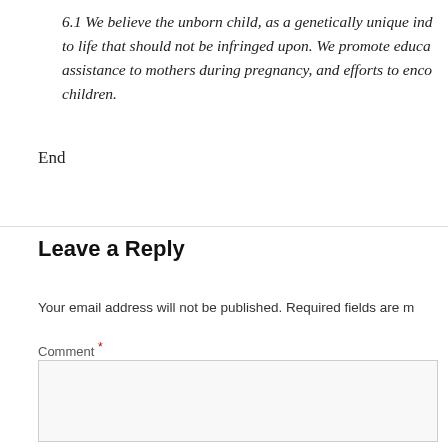6.1 We believe the unborn child, as a genetically unique individual, has a right to life that should not be infringed upon. We promote education, medical assistance to mothers during pregnancy, and efforts to encourage adoption of children.
End
Leave a Reply
Your email address will not be published. Required fields are marked *
Comment *